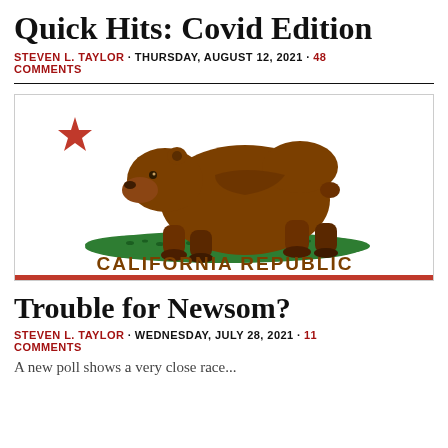Quick Hits: Covid Edition
STEVEN L. TAYLOR · THURSDAY, AUGUST 12, 2021 · 48 COMMENTS
[Figure (illustration): California Republic state flag featuring a grizzly bear walking on green grass, a red star in the upper left, and a red stripe at the bottom with the text CALIFORNIA REPUBLIC]
Trouble for Newsom?
STEVEN L. TAYLOR · WEDNESDAY, JULY 28, 2021 · 11 COMMENTS
A new poll shows a very close race...